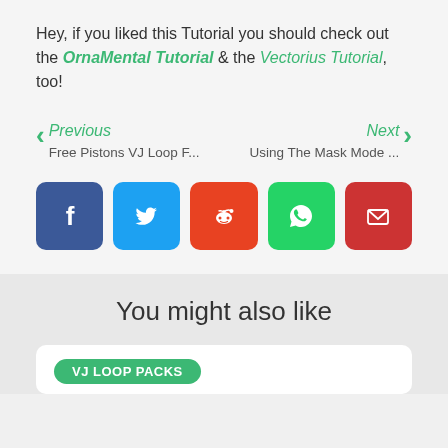Hey, if you liked this Tutorial you should check out the OrnaMental Tutorial & the Vectorius Tutorial, too!
Previous | Free Pistons VJ Loop F...    Next | Using The Mask Mode ...
[Figure (infographic): Five social share buttons: Facebook (blue), Twitter (light blue), Reddit (orange-red), WhatsApp (green), Email (red)]
You might also like
VJ LOOP PACKS